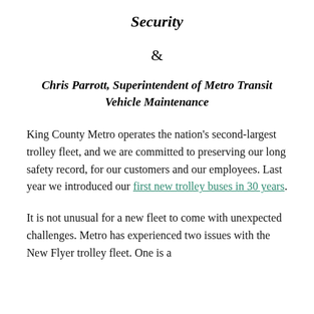Security
&
Chris Parrott, Superintendent of Metro Transit Vehicle Maintenance
King County Metro operates the nation's second-largest trolley fleet, and we are committed to preserving our long safety record, for our customers and our employees. Last year we introduced our first new trolley buses in 30 years.
It is not unusual for a new fleet to come with unexpected challenges. Metro has experienced two issues with the New Flyer trolley fleet. One is a